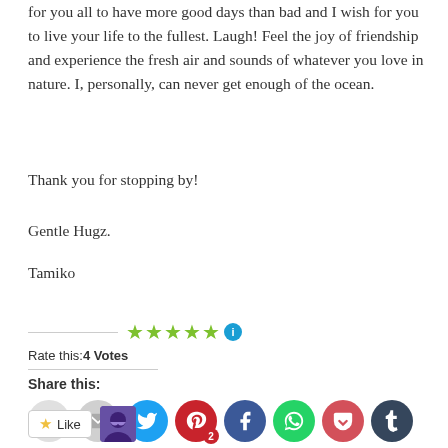for you all to have more good days than bad and I wish for you to live your life to the fullest. Laugh! Feel the joy of friendship and experience the fresh air and sounds of whatever you love in nature. I, personally, can never get enough of the ocean.
Thank you for stopping by!
Gentle Hugz.
Tamiko
[Figure (other): Star rating widget showing 4 green stars and an info icon, with text 'Rate this: 4 Votes']
Share this:
[Figure (other): Row of social media share icon buttons: print, email, Twitter, Pinterest (with badge 2), Facebook, WhatsApp, Pocket, Tumblr, Reddit, LinkedIn, Telegram, and Skype]